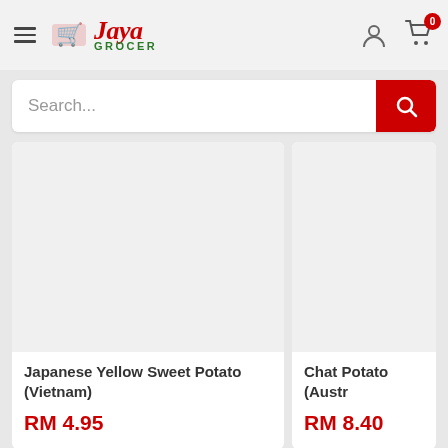Jaya Grocer
Search...
Japanese Yellow Yellow Sweet Potato (Vietnam)
RM 4.95
Chat Potato (Austr...
RM 8.40